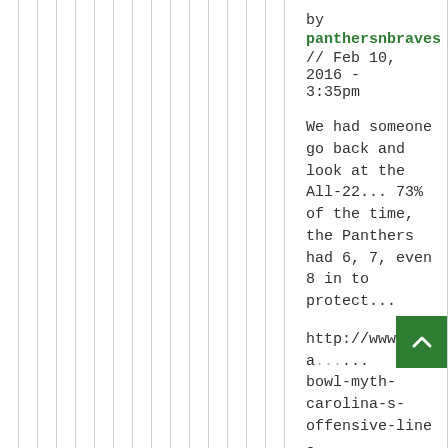by panthersnbraves // Feb 10, 2016 - 3:35pm
We had someone go back and look at the All-22... 73% of the time, the Panthers had 6, 7, even 8 in to protect...
http://www.ca...bowl-myth-carolina-s-offensive-line-got-no-help